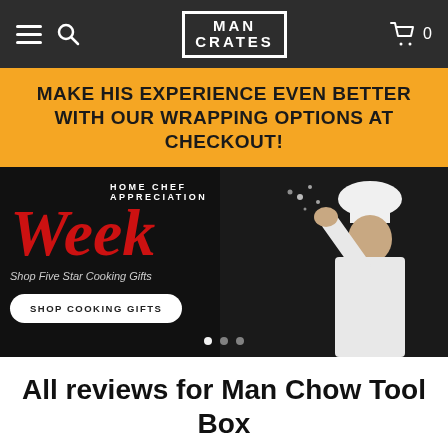MAN CRATES navigation bar with hamburger menu, search icon, logo, and cart (0)
MAKE HIS EXPERIENCE EVEN BETTER WITH OUR WRAPPING OPTIONS AT CHECKOUT!
[Figure (photo): Home Chef Appreciation Week hero banner with a chef in white uniform and hat tossing flour, text reads 'HOME CHEF APPRECIATION Week Shop Five Star Cooking Gifts' with a 'SHOP COOKING GIFTS' button and carousel dots]
All reviews for Man Chow Tool Box
Back to Man Chow Tool Box
Sort by: Default
[Figure (other): Five orange star rating icons]